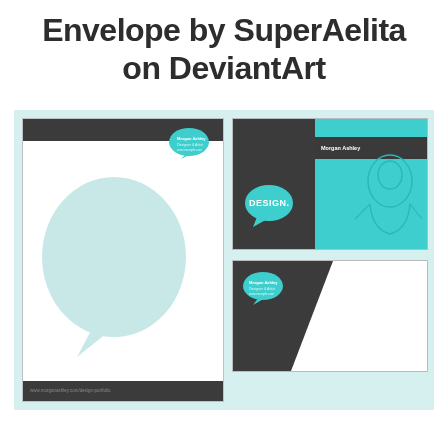Envelope by SuperAelita on DeviantArt
[Figure (illustration): A stationery/branding kit mockup showing a letterhead with large speech bubble graphic, a business card with dark and teal halves labeled 'DESIGN.' and a person illustration, and an envelope design — all featuring a teal speech bubble motif on dark and white backgrounds.]